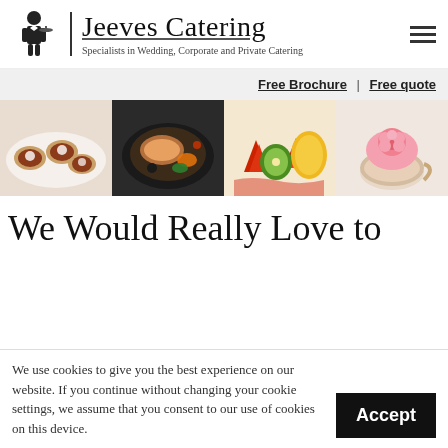Jeeves Catering — Specialists in Wedding, Corporate and Private Catering
Free Brochure | Free quote
[Figure (photo): Four food photos side by side: mini tarts, plated meat dish with garnish, fresh fruits (strawberries, kiwi), and cupcake with pink rose decoration]
We Would Really Love to
We use cookies to give you the best experience on our website. If you continue without changing your cookie settings, we assume that you consent to our use of cookies on this device.